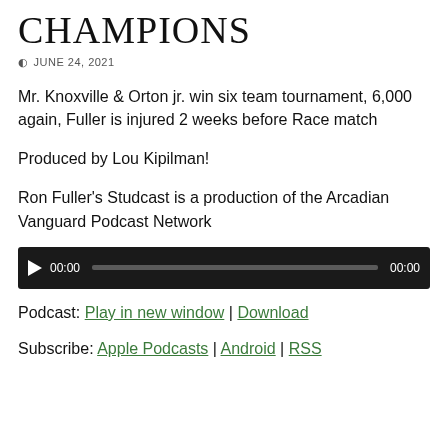CHAMPIONS
JUNE 24, 2021
Mr. Knoxville & Orton jr. win six team tournament, 6,000 again, Fuller is injured 2 weeks before Race match
Produced by Lou Kipilman!
Ron Fuller's Studcast is a production of the Arcadian Vanguard Podcast Network
[Figure (other): Audio player with play button, time display 00:00, progress bar, and end time 00:00]
Podcast: Play in new window | Download
Subscribe: Apple Podcasts | Android | RSS